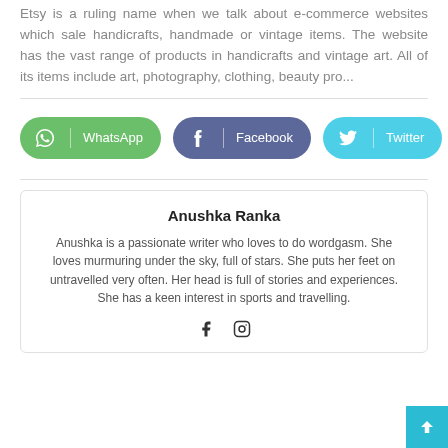Etsy is a ruling name when we talk about e-commerce websites which sale handicrafts, handmade or vintage items. The website has the vast range of products in handicrafts and vintage art. All of its items include art, photography, clothing, beauty pro...
[Figure (infographic): Social share buttons: WhatsApp (green), Facebook (dark blue), Twitter (cyan)]
Anushka Ranka
Anushka is a passionate writer who loves to do wordgasm. She loves murmuring under the sky, full of stars. She puts her feet on untravelled very often. Her head is full of stories and experiences. She has a keen interest in sports and travelling.